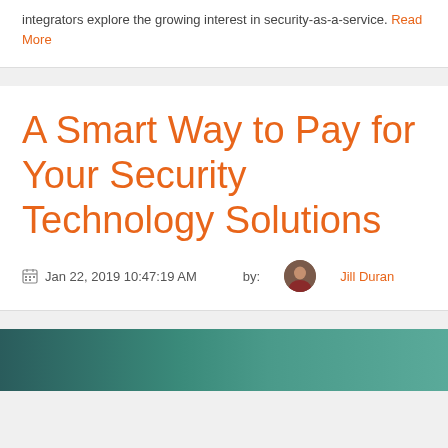integrators explore the growing interest in security-as-a-service. Read More
A Smart Way to Pay for Your Security Technology Solutions
Jan 22, 2019 10:47:19 AM  by:  Jill Duran
[Figure (photo): Partial view of a photo at the bottom of the page, showing people or technology in teal/dark tones]